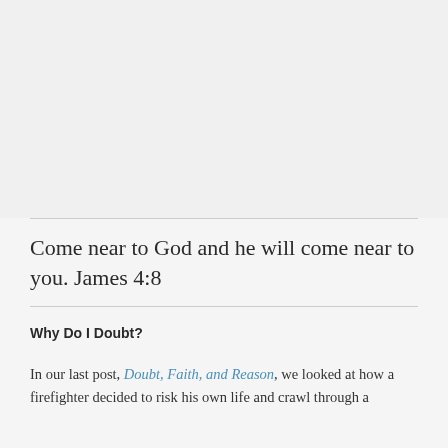Come near to God and he will come near to you. James 4:8
Why Do I Doubt?
In our last post, Doubt, Faith, and Reason, we looked at how a firefighter decided to risk his own life and crawl through a